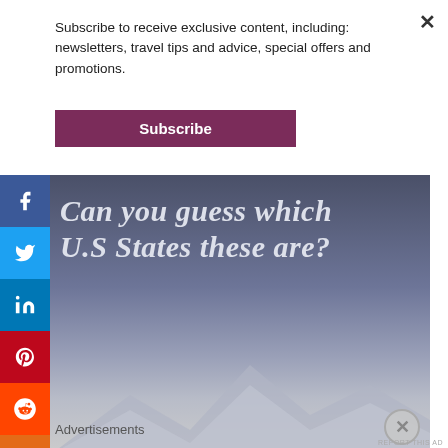Subscribe to receive exclusive content, including: newsletters, travel tips and advice, special offers and promotions.
Subscribe
[Figure (screenshot): Social media sharing sidebar with icons for Facebook, Twitter, LinkedIn, Pinterest, Reddit, Mix, YouTube, and Email]
[Figure (photo): Banner image with dark blue-grey background showing text 'Can you guess which U.S States these are?' in bold italic serif font, with mountain silhouette visible at bottom]
Advertisements